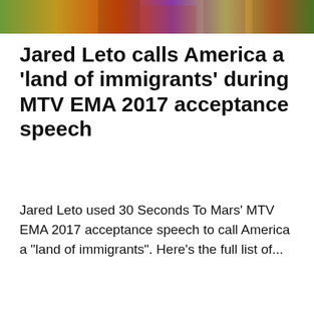[Figure (photo): Colorful banner photo strip showing a person in orange/purple outfit against a green/yellow background, cropped at the top of the page]
Jared Leto calls America a ‘land of immigrants’ during MTV EMA 2017 acceptance speech
Jared Leto used 30 Seconds To Mars' MTV EMA 2017 acceptance speech to call America a "land of immigrants". Here's the full list of...